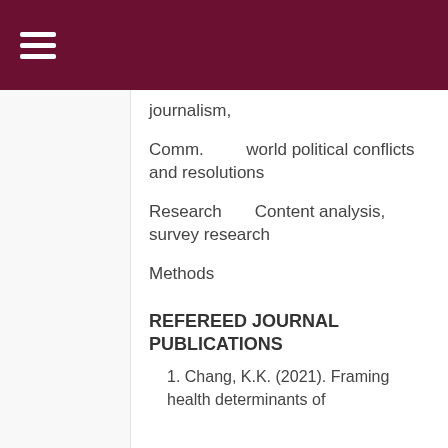≡
journalism,
Comm.      world political conflicts and resolutions
Research      Content analysis, survey research
Methods
REFEREED JOURNAL PUBLICATIONS
1. Chang, K.K. (2021). Framing health determinants of